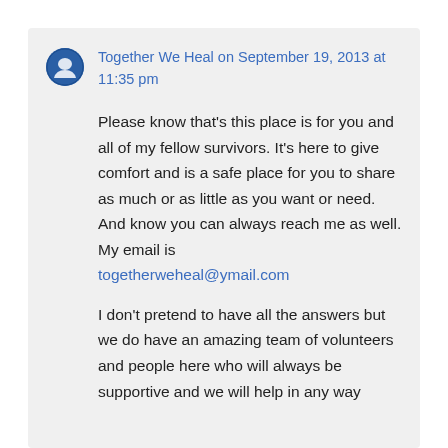[Figure (logo): Round blue avatar/logo for Together We Heal organization]
Together We Heal on September 19, 2013 at 11:35 pm
Please know that's this place is for you and all of my fellow survivors. It's here to give comfort and is a safe place for you to share as much or as little as you want or need. And know you can always reach me as well. My email is togetherweheal@ymail.com
I don't pretend to have all the answers but we do have an amazing team of volunteers and people here who will always be supportive and we will help in any way